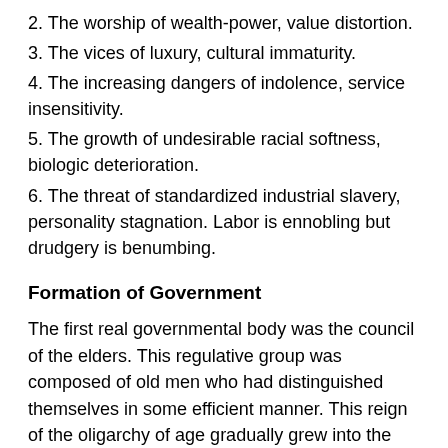2. The worship of wealth-power, value distortion.
3. The vices of luxury, cultural immaturity.
4. The increasing dangers of indolence, service insensitivity.
5. The growth of undesirable racial softness, biologic deterioration.
6. The threat of standardized industrial slavery, personality stagnation. Labor is ennobling but drudgery is benumbing.
Formation of Government
The first real governmental body was the council of the elders. This regulative group was composed of old men who had distinguished themselves in some efficient manner. This reign of the oligarchy of age gradually grew into the patriarchal idea. In the early council of the elders there resided the potential of all governmental functions: